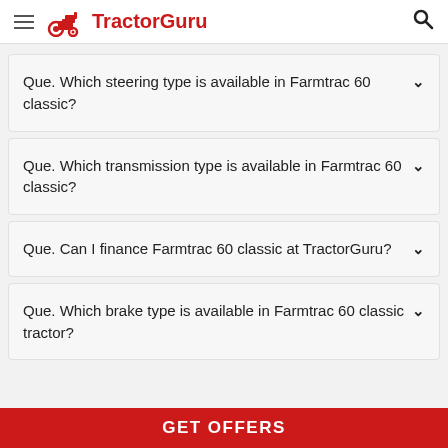TractorGuru
Que. Which steering type is available in Farmtrac 60 classic?
Que. Which transmission type is available in Farmtrac 60 classic?
Que. Can I finance Farmtrac 60 classic at TractorGuru?
Que. Which brake type is available in Farmtrac 60 classic tractor?
GET OFFERS